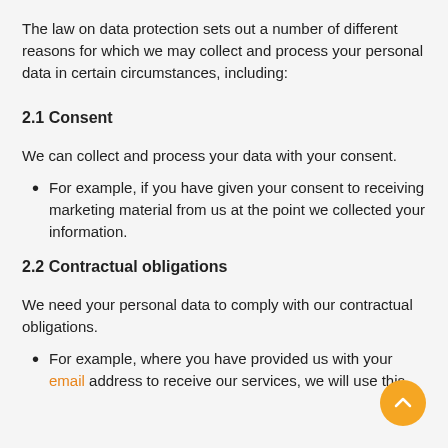The law on data protection sets out a number of different reasons for which we may collect and process your personal data in certain circumstances, including:
2.1 Consent
We can collect and process your data with your consent.
For example, if you have given your consent to receiving marketing material from us at the point we collected your information.
2.2 Contractual obligations
We need your personal data to comply with our contractual obligations.
For example, where you have provided us with your email address to receive our services, we will use this